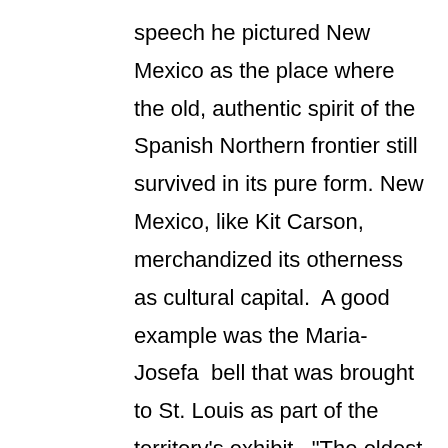speech he pictured New Mexico as the place where the old, authentic spirit of the Spanish Northern frontier still survived in its pure form. New Mexico, like Kit Carson, merchandized its otherness as cultural capital.  A good example was the Maria-Josefa  bell that was brought to St. Louis as part of the territory's exhibit.  "The oldest bell in America . . . cast in the year 1355," it was originally brought to the mythical "seven cities of Cibola," then taken "to Gran Quivira, and thence to Algodones, in Sandoval County, New Mexico" (Otero, My Nine Years, 305-6).  Here lies the essence of Otero Jr.'s rhetoric:  he evokes a prized object of antiquity, traces out its Hispano/Indian